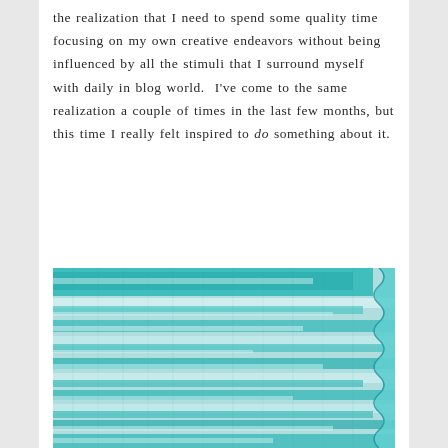the realization that I need to spend some quality time focusing on my own creative endeavors without being influenced by all the stimuli that I surround myself with daily in blog world.  I've come to the same realization a couple of times in the last few months, but this time I really felt inspired to do something about it.
[Figure (photo): Close-up photo of teal/turquoise paint brush strokes on a surface, showing horizontal streaks with varying opacity. The right edge has a scalloped decorative border. The overall image shows layered teal paint with lighter areas revealing the texture underneath.]